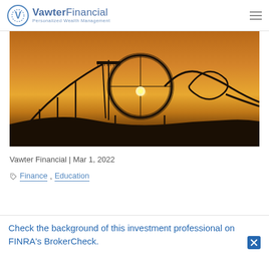Vawter Financial — Personalized Wealth Management
[Figure (photo): Silhouette of a large roller coaster structure against a warm sunset sky with orange and golden hues.]
Vawter Financial | Mar 1, 2022
Finance , Education
Check the background of this investment professional on FINRA's BrokerCheck.